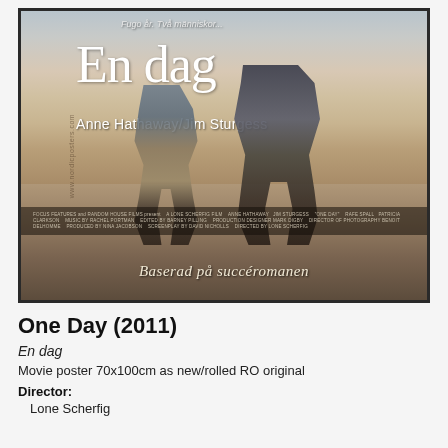[Figure (photo): Swedish movie poster for 'En dag' (One Day, 2011) showing two people from waist down walking together, with large title text 'En dag', actors 'Anne Hathaway/Jim Sturgess', tagline 'Baserad på succéromanen', and watermark 'www.nordicposters.com']
One Day (2011)
En dag
Movie poster 70x100cm as new/rolled RO original
Director:
Lone Scherfig